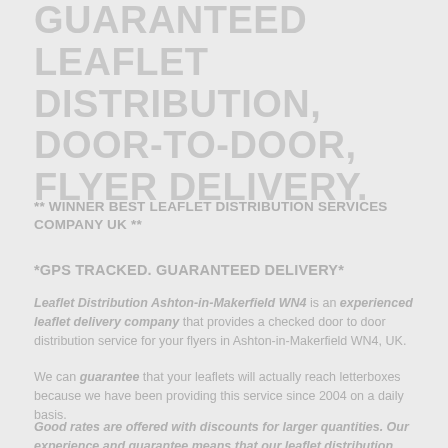GUARANTEED LEAFLET DISTRIBUTION, DOOR-TO-DOOR, FLYER DELIVERY.
** WINNER BEST LEAFLET DISTRIBUTION SERVICES COMPANY UK **
*GPS TRACKED. GUARANTEED DELIVERY*
Leaflet Distribution Ashton-in-Makerfield WN4 is an experienced leaflet delivery company that provides a checked door to door distribution service for your flyers in Ashton-in-Makerfield WN4, UK.
We can guarantee that your leaflets will actually reach letterboxes because we have been providing this service since 2004 on a daily basis.
Good rates are offered with discounts for larger quantities. Our experience and guarantee means that our leaflet distribution